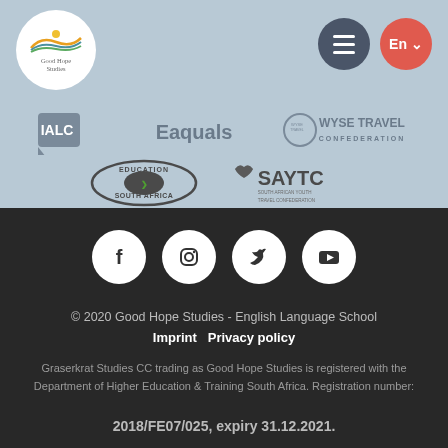[Figure (logo): Good Hope Studies logo - circular white badge with colorful wave/landscape icon and text 'Good Hope Studies']
[Figure (logo): Navigation bar with hamburger menu icon (dark circle) and En language selector (red circle)]
[Figure (logo): Partnership logos strip: IALC, Eaquals, WYSE Travel Confederation, Education South Africa, SAYTC South African Youth Travel Confederation]
[Figure (logo): Social media icons: Facebook, Instagram, Twitter, YouTube - white circles on dark background]
© 2020 Good Hope Studies - English Language School
Imprint   Privacy policy
Graserkrat Studies CC trading as Good Hope Studies is registered with the Department of Higher Education & Training South Africa. Registration number: 2018/FE07/025, expiry 31.12.2021.